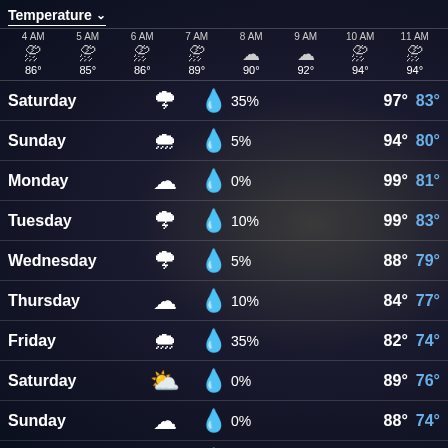Temperature ▾
| 4 AM | 5 AM | 6 AM | 7 AM | 8 AM | 9 AM | 10 AM | 11 AM |
| --- | --- | --- | --- | --- | --- | --- | --- |
| ⛈ | ⛈ | ⛈ | ⛈ | ☁ | ☁ | ⛈ | ⛈ |
| 86° | 85° | 86° | 89° | 90° | 92° | 94° | 94° |
| Day | Icon | Precip% | High | Low |
| --- | --- | --- | --- | --- |
| Saturday | thunderstorm | 35% | 97° | 83° |
| Sunday | rain | 5% | 94° | 80° |
| Monday | cloudy | 0% | 99° | 81° |
| Tuesday | thunderstorm | 10% | 99° | 83° |
| Wednesday | thunderstorm | 5% | 88° | 79° |
| Thursday | cloudy | 10% | 84° | 77° |
| Friday | rain | 35% | 82° | 74° |
| Saturday | partly-sunny | 0% | 89° | 76° |
| Sunday | cloudy | 0% | 88° | 74° |
| Monday | — | — | — | — |